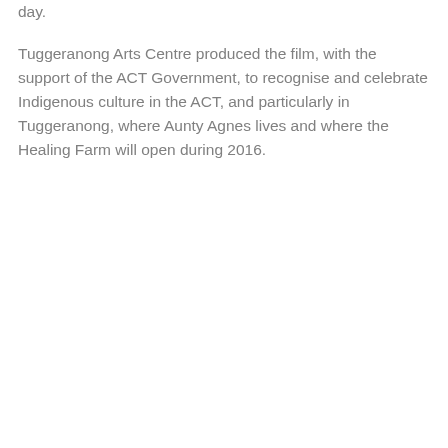day.
Tuggeranong Arts Centre produced the film, with the support of the ACT Government, to recognise and celebrate Indigenous culture in the ACT, and particularly in Tuggeranong, where Aunty Agnes lives and where the Healing Farm will open during 2016.